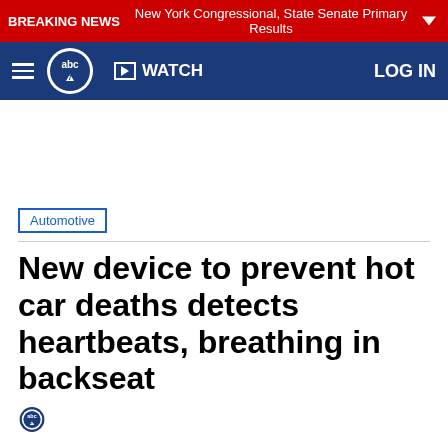BREAKING NEWS New York Congressional, State Senate Primary Results
WATCH  LOG IN
[Figure (other): Advertisement/empty ad space area]
Automotive
New device to prevent hot car deaths detects heartbeats, breathing in backseat
[Figure (logo): ABC7 logo small]